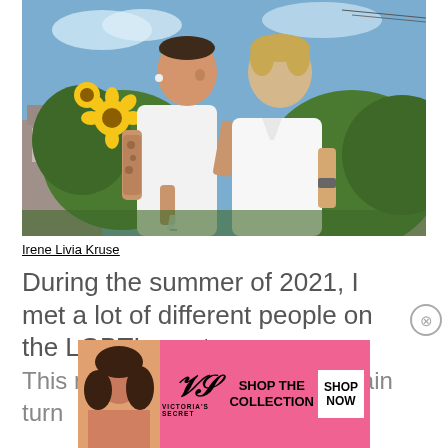[Figure (photo): Two women in white outfits embracing and smiling at each other in an outdoor garden setting with sunflowers and green plants. One woman wears a floral crown and has tattooed arms. The background shows residential buildings and a partly cloudy sky.]
Irene Livia Kruse
During the summer of 2021, I met a lot of different people on the LGBTI spectrum. This made the little cog in my brain turn...
[Figure (photo): Victoria's Secret advertisement banner with pink background showing a woman's face on the left, the VS logo in the center, and text reading 'SHOP THE COLLECTION' with a white button 'SHOP NOW' on the right.]